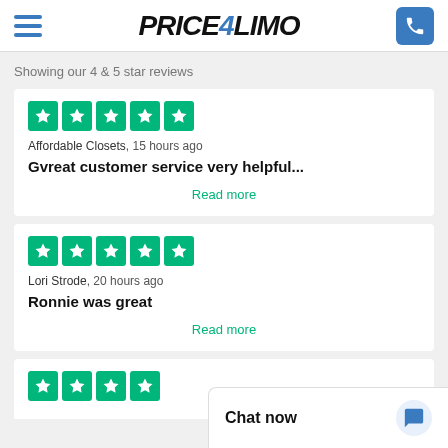Price4Limo
Showing our 4 & 5 star reviews
Affordable Closets, 15 hours ago
Gvreat customer service very helpful...
Read more
Lori Strode, 20 hours ago
Ronnie was great
Read more
Chat now